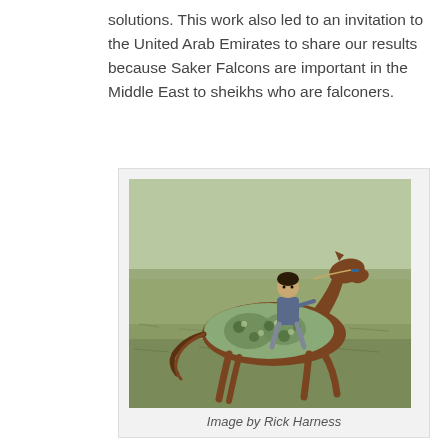solutions. This work also led to an invitation to the United Arab Emirates to share our results because Saker Falcons are important in the Middle East to sheikhs who are falconers.
[Figure (photo): A young boy riding a horse decorated with a patterned blanket/cloth across an open grassland field.]
Image by Rick Harness